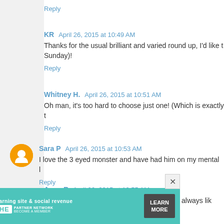Reply
KR  April 26, 2015 at 10:49 AM
Thanks for the usual brilliant and varied round up, I'd like to Sunday)!
Reply
Whitney H.  April 26, 2015 at 10:51 AM
Oh man, it's too hard to choose just one! (Which is exactly t
Reply
Sara P  April 26, 2015 at 10:53 AM
I love the 3 eyed monster and have had him on my mental l
Reply
Anna R  April 26, 2015 at 10:55 AM
I love all the new art you picked up, and I've always lik
[Figure (other): Advertisement banner for SHE PARTNER NETWORK featuring a woman photo, text 'Earning site & social revenue', SHE logo, 'PARTNER NETWORK BECOME A MEMBER' text, and a 'LEARN MORE' button]